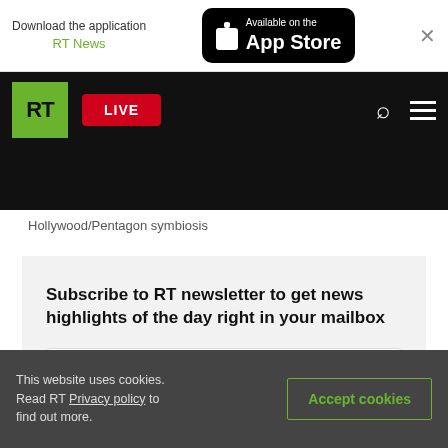Download the application RT News — Available on the App Store
[Figure (screenshot): RT news website navigation bar with green RT logo, LIVE button in red, search and menu icons on black background]
Hollywood/Pentagon symbiosis
Subscribe to RT newsletter to get news highlights of the day right in your mailbox
E-mail
This website uses cookies. Read RT Privacy policy to find out more.    Accept cookies